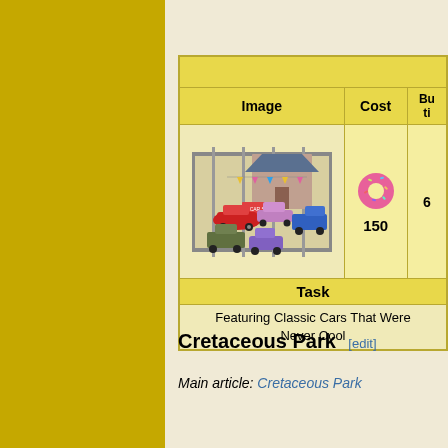| Image | Cost | Bu... ti... |
| --- | --- | --- |
| [car dealership image] | 🍩 150 | 6 |
| Task |  |  |
| Featuring Classic Cars That Were Never Cool |  |  |
Cretaceous Park [edit]
Main article: Cretaceous Park